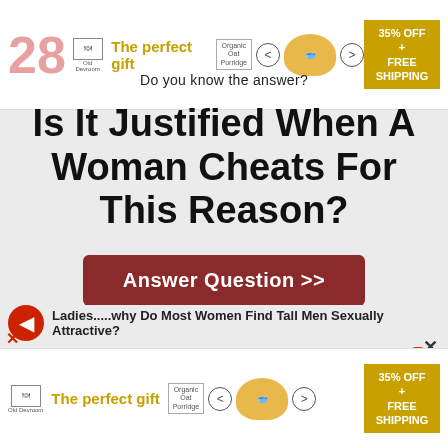[Figure (other): Advertisement banner for 'The perfect gift' with oatmeal/porridge product, showing 35% OFF + FREE SHIPPING offer]
Do you know the answer?
Is It Justified When A Woman Cheats For This Reason?
Answer Question >>
Ladies.....why Do Most Women Find Tall Men Sexually Attractive?
Dates
[Figure (other): Second advertisement banner for 'The perfect gift' with oatmeal/porridge product, showing 35% OFF + FREE SHIPPING offer]